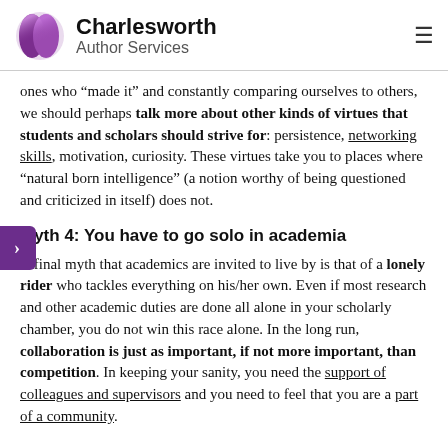Charlesworth Author Services
ones who “made it” and constantly comparing ourselves to others, we should perhaps talk more about other kinds of virtues that students and scholars should strive for: persistence, networking skills, motivation, curiosity. These virtues take you to places where “natural born intelligence” (a notion worthy of being questioned and criticized in itself) does not.
Myth 4: You have to go solo in academia
A final myth that academics are invited to live by is that of a lonely rider who tackles everything on his/her own. Even if most research and other academic duties are done all alone in your scholarly chamber, you do not win this race alone. In the long run, collaboration is just as important, if not more important, than competition. In keeping your sanity, you need the support of colleagues and supervisors and you need to feel that you are a part of a community.